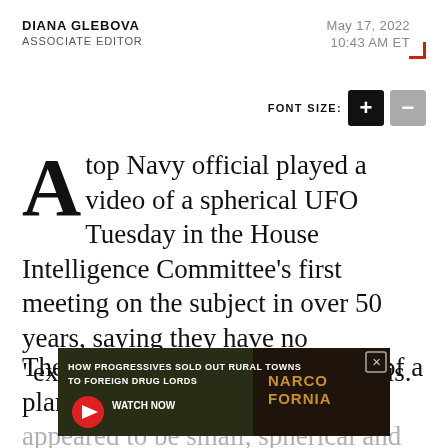DIANA GLEBOVA
ASSOCIATE EDITOR
May 17, 2022
10:43 AM ET
FONT SIZE: + −
A top Navy official played a video of a spherical UFO Tuesday in the House Intelligence Committee’s first meeting on the subject in over 50 years, saying they have no “explanation” for what the object is.
The object flew past the window of a plane and appeared to be small, spherical and reflective, and m…
[Figure (other): Advertisement banner: HOW PROGRESSIVES SOLD OUT RURAL TOWNS TO FOREIGN DRUG LORDS - NARCOFORNIA - WATCH NOW]